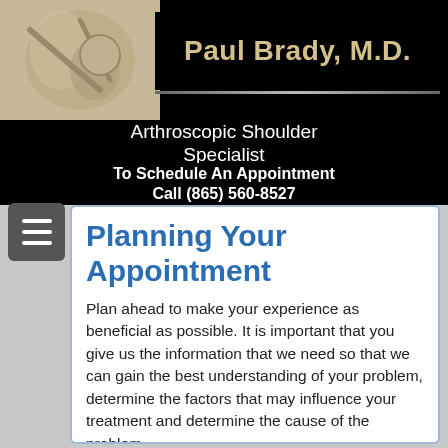[Figure (illustration): Shoulder anatomy illustration showing joint structure on a beige/cream background]
Paul Brady, M.D.
Arthroscopic Shoulder Specialist
To Schedule An Appointment Call (865) 560-8527
Planning Your Appointment
Plan ahead to make your experience as beneficial as possible. It is important that you give us the information that we need so that we can gain the best understanding of your problem, determine the factors that may influence your treatment and determine the cause of the problem.